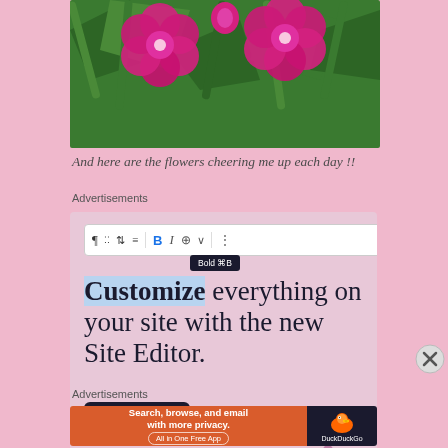[Figure (photo): Close-up photo of bright pink/magenta flowers (carnations or dianthus) with green leaves in the background]
And here are the flowers cheering me up each day !!
Advertisements
[Figure (screenshot): WordPress.com advertisement showing a WordPress block editor toolbar with a Bold tooltip, large text reading 'Customize everything on your site with the new Site Editor.', a dark 'Start Today' button, and a WordPress.com logo badge in the bottom right corner.]
Advertisements
[Figure (screenshot): DuckDuckGo advertisement: orange left panel reading 'Search, browse, and email with more privacy. All in One Free App' and dark right panel with DuckDuckGo duck logo and 'DuckDuckGo' text.]